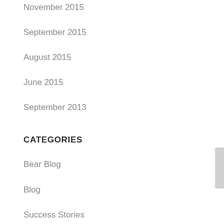November 2015
September 2015
August 2015
June 2015
September 2013
CATEGORIES
Bear Blog
Blog
Success Stories
META
Log in
Entries feed